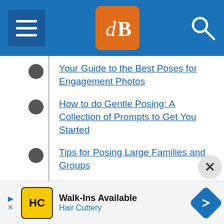[Figure (screenshot): Website header with hamburger menu icon on left (dark blue box with three white lines), dPS logo in center (orange box with white dB symbol), and search icon on right, all on blue background]
Your Guide to the Best Poses for Engagement Photos
How to do Gentle Posing: A Collection of Prompts to Get You Started
Tips for Posing Large Families and Groups
How to Pose People for Headshots
Tips for Posing People in Outdoor Portraits
20 Tips for Getting People to Smile in Photos
How to Avoid Fake Smiles in Your People Photography
[Figure (infographic): Advertisement banner: Walk-Ins Available – Hair Cuttery, with HC logo and navigation arrow]